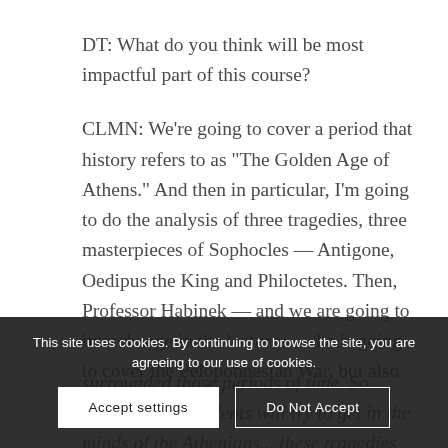DT: What do you think will be most impactful part of this course?
CLMN: We're going to cover a period that history refers to as "The Golden Age of Athens." And then in particular, I'm going to do the analysis of three tragedies, three masterpieces of Sophocles — Antigone, Oedipus the King and Philoctetes. Then, Professor Habinek — and we are going to interchange in the lectures — he is going to cover the Peloponnesian War, but also the events that surrounded those periods of time. So hopefully the students will try to get in the minds of the Athenians... these tragedies were staged for... Antigone was staged in
This site uses cookies. By continuing to browse the site, you are agreeing to our use of cookies.